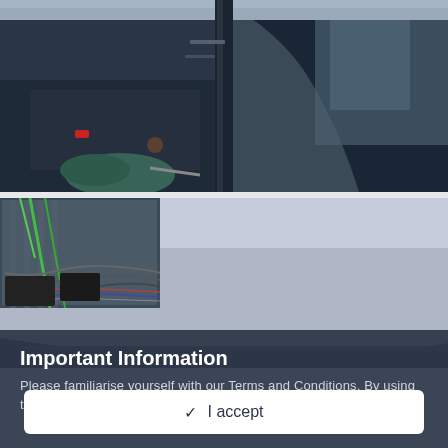[Figure (photo): Car interior photo showing an open car door frame with gloved hand holding a tool, dark interior with dashboard visible, partial view from inside the vehicle]
[Figure (photo): Car headliner/roof lining photo showing grey fabric being installed or repaired, with wiring visible in background]
Important Information
Please familiarise yourself with our Terms and Conditions. By using this site, you agree to the following: Terms of Use.
✓ I accept